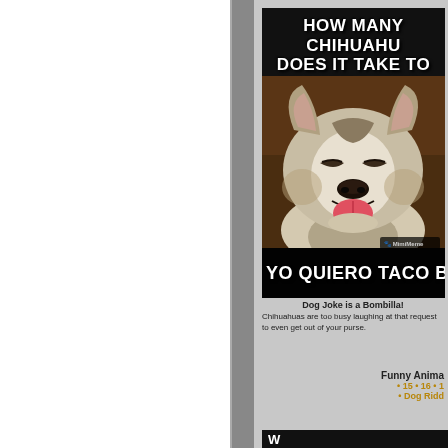[Figure (photo): Screenshot of a webpage showing a dog meme. The meme features a smiling husky/dog with text: 'HOW MANY CHIHUAHUAS DOES IT TAKE TO CHANGE A LIGHT BULB?' at the top and 'YO QUIERO TACO BULB' at the bottom. The right side is partially cut off.]
Dog Joke is a Bombilla!
Chihuahuas are too busy laughing at that request to even get out of your purse.
Funny Anima
• 15 • 16 • 1
• Dog Ridd
W